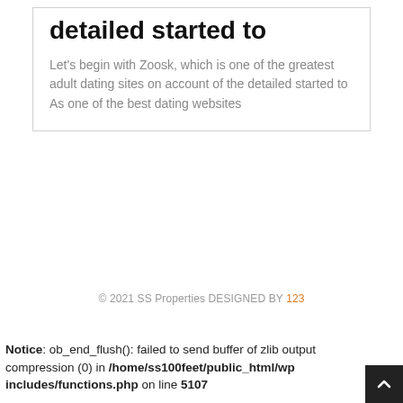detailed started to
Let's begin with Zoosk, which is one of the greatest adult dating sites on account of the detailed started to As one of the best dating websites
© 2021 SS Properties DESIGNED BY 123
Notice: ob_end_flush(): failed to send buffer of zlib output compression (0) in /home/ss100feet/public_html/wp includes/functions.php on line 5107